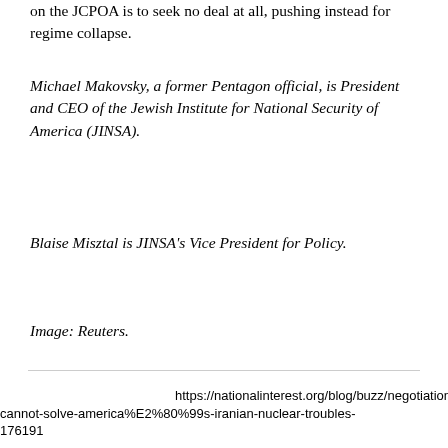on the JCPOA is to seek no deal at all, pushing instead for regime collapse.
Michael Makovsky, a former Pentagon official, is President and CEO of the Jewish Institute for National Security of America (JINSA).
Blaise Misztal is JINSA's Vice President for Policy.
Image: Reuters.
https://nationalinterest.org/blog/buzz/negotiations-cannot-solve-america%E2%80%99s-iranian-nuclear-troubles-176191